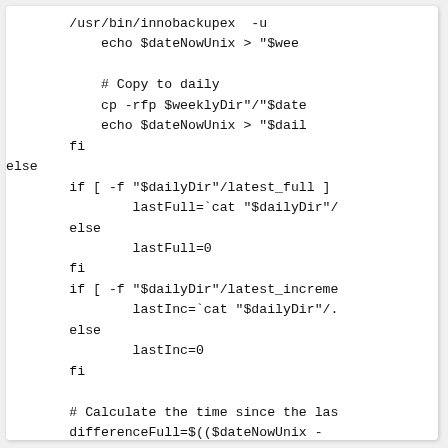[Figure (screenshot): Shell script code snippet showing bash backup logic with if/else/fi conditionals, file checks, variable assignments, and comments. Code is displayed in monospace font on a white background.]